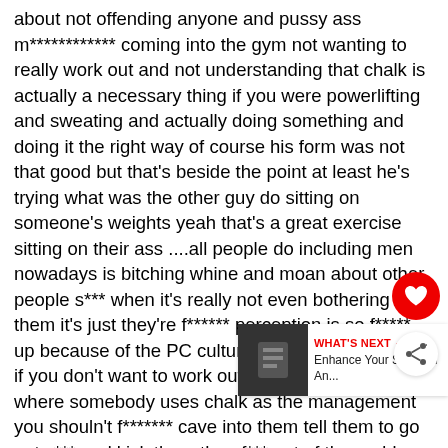about not offending anyone and pussy ass m************ coming into the gym not wanting to really work out and not understanding that chalk is actually a necessary thing if you were powerlifting and sweating and actually doing something and doing it the right way of course his form was not that good but that's beside the point at least he's trying what was the other guy do sitting on someone's weights yeah that's a great exercise sitting on their ass ....all people do including men nowadays is bitching whine and moan about other people s*** when it's really not even bothering them it's just they're f****** perception is so f***** up because of the PC culture we live in is b******** if you don't want to work out and go to the gym where somebody uses chalk as the management you shouldn't f******* cave into them tell them to go eat s*** and kick them the нf*** out of the goddamn gym i per my own gym with tell any motherfuker who offended cuz that guy's using chalk as long as he cleaned it up the best he could or if it was in a specific area for